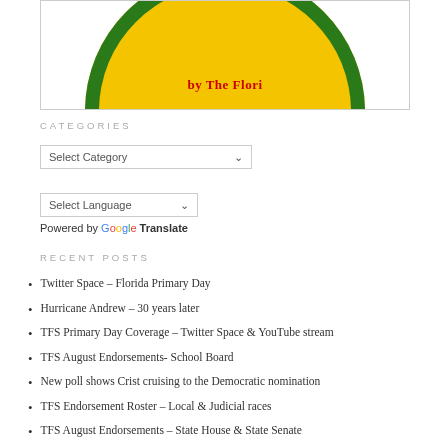[Figure (logo): Partial circular logo with green border, yellow background, red dotted inner ring, and red text reading 'by The Flori...' — cropped at top]
CATEGORIES
Select Category (dropdown)
Select Language (dropdown)
Powered by Google Translate
RECENT POSTS
Twitter Space – Florida Primary Day
Hurricane Andrew – 30 years later
TFS Primary Day Coverage – Twitter Space & YouTube stream
TFS August Endorsements- School Board
New poll shows Crist cruising to the Democratic nomination
TFS Endorsement Roster – Local & Judicial races
TFS August Endorsements – State House & State Senate